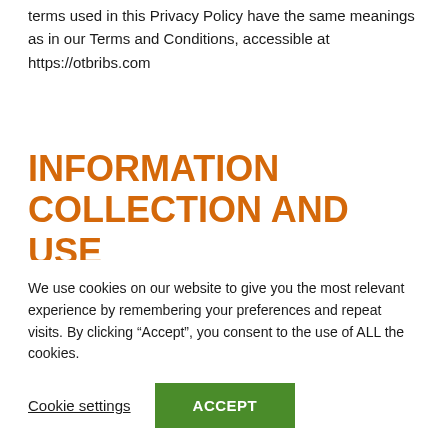terms used in this Privacy Policy have the same meanings as in our Terms and Conditions, accessible at https://otbribs.com
INFORMATION COLLECTION AND USE
While using our Service, we may ask you to provide us with certain personally identifiable information that can be used to contact or identify you. Personally identifiable
We use cookies on our website to give you the most relevant experience by remembering your preferences and repeat visits. By clicking “Accept”, you consent to the use of ALL the cookies.
Cookie settings  ACCEPT